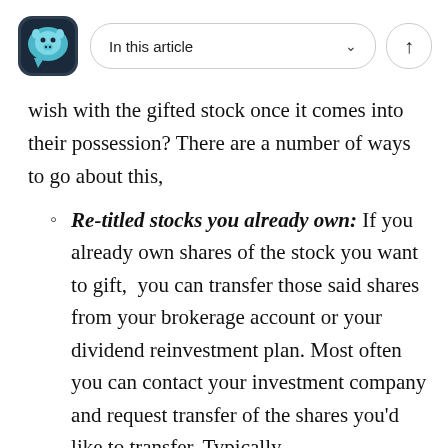In this article
wish with the gifted stock once it comes into their possession? There are a number of ways to go about this,
Re-titled stocks you already own: If you already own shares of the stock you want to gift, you can transfer those said shares from your brokerage account or your dividend reinvestment plan. Most often you can contact your investment company and request transfer of the shares you'd like to transfer. Typically